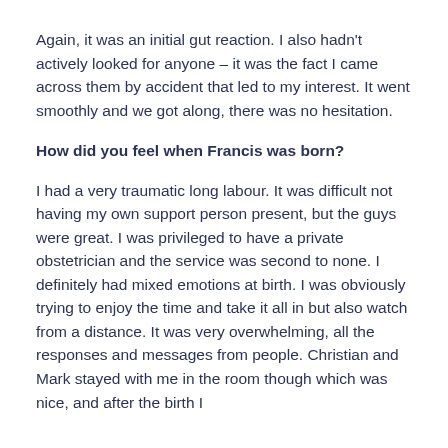Again, it was an initial gut reaction. I also hadn't actively looked for anyone – it was the fact I came across them by accident that led to my interest. It went smoothly and we got along, there was no hesitation.
How did you feel when Francis was born?
I had a very traumatic long labour. It was difficult not having my own support person present, but the guys were great. I was privileged to have a private obstetrician and the service was second to none. I definitely had mixed emotions at birth. I was obviously trying to enjoy the time and take it all in but also watch from a distance. It was very overwhelming, all the responses and messages from people. Christian and Mark stayed with me in the room though which was nice, and after the birth I